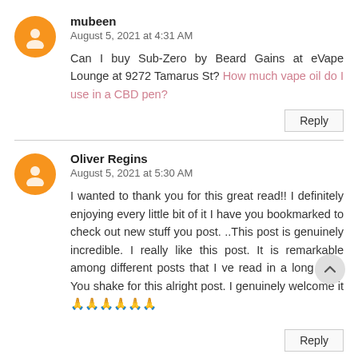mubeen
August 5, 2021 at 4:31 AM
Can I buy Sub-Zero by Beard Gains at eVape Lounge at 9272 Tamarus St? How much vape oil do I use in a CBD pen?
Reply
Oliver Regins
August 5, 2021 at 5:30 AM
I wanted to thank you for this great read!! I definitely enjoying every little bit of it I have you bookmarked to check out new stuff you post. ..This post is genuinely incredible. I really like this post. It is remarkable among different posts that I ve read in a long time. You shake for this alright post. I genuinely welcome it 🙏🙏🙏🙏🙏🙏